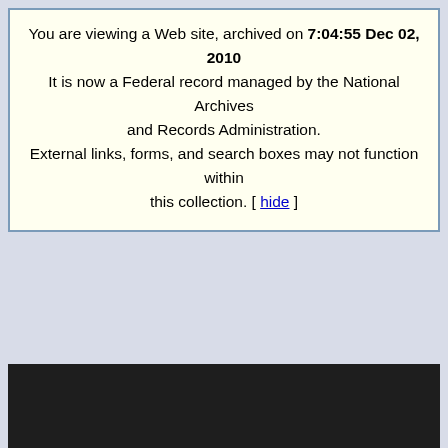You are viewing a Web site, archived on 7:04:55 Dec 02, 2010 It is now a Federal record managed by the National Archives and Records Administration. External links, forms, and search boxes may not function within this collection. [ hide ]
[Figure (other): Light blue-gray empty content area]
[Figure (other): Dark near-black horizontal bar, likely a navigation or header bar from the archived website]
[Figure (other): Light blue-gray empty lower content area]